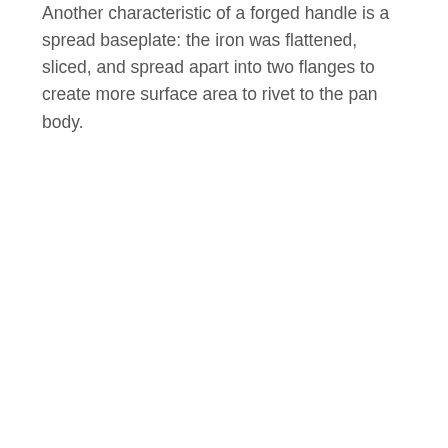Another characteristic of a forged handle is a spread baseplate: the iron was flattened, sliced, and spread apart into two flanges to create more surface area to rivet to the pan body.